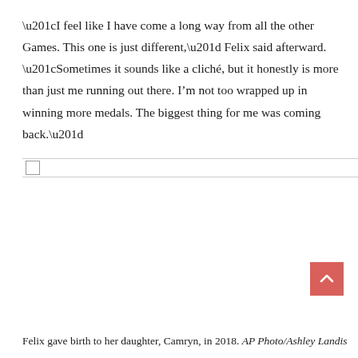“I feel like I have come a long way from all the other Games. This one is just different,” Felix said afterward. “Sometimes it sounds like a cliché, but it honestly is more than just me running out there. I’m not too wrapped up in winning more medals. The biggest thing for me was coming back.”
[Figure (other): A horizontal divider bar with a checkbox on the left, used as a UI separator element on a webpage.]
[Figure (other): A salmon/coral colored scroll-to-top button with an upward-pointing chevron arrow icon, positioned in the lower right area.]
Felix gave birth to her daughter, Camryn, in 2018. AP Photo/Ashley Landis